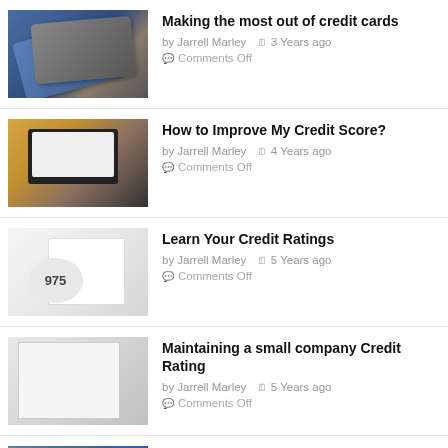[Figure (photo): Credit cards stacked on table, blue tones]
Making the most out of credit cards
by Jarrell Marley  🗓 3 Years ago
Comments Off
[Figure (photo): Person using laptop showing credit score gauge]
How to Improve My Credit Score?
by Jarrell Marley  🗓 4 Years ago
Comments Off
[Figure (photo): Credit rating report showing score 975 with gauge]
Learn Your Credit Ratings
by Jarrell Marley  🗓 5 Years ago
Comments Off
[Figure (photo): Person filling out credit score form with checkboxes]
Maintaining a small company Credit Rating
by Jarrell Marley  🗓 5 Years ago
Comments Off
[Figure (photo): Hands with blue gloves, partial image]
Acquiring Personal Credit Improvement